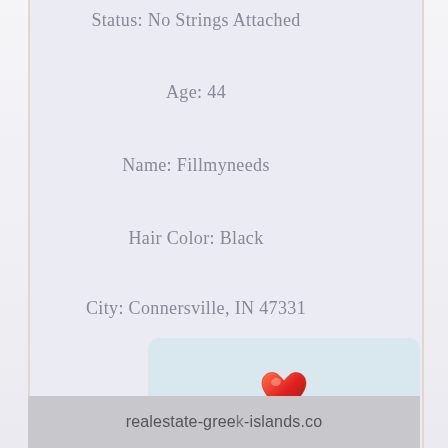Status: No Strings Attached
Age: 44
Name: Fillmyneeds
Hair Color: Black
City: Connersville, IN 47331
[Figure (illustration): A heart/like button with a red heart emoji icon on a light blue rounded rectangle button]
[Figure (screenshot): Bottom portion of page showing a real estate website watermark: realestate-greek-islands.co]